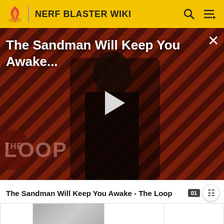NERF BLASTER WIKI
[Figure (screenshot): Video thumbnail for 'The Sandman Will Keep You Awake...' showing a dark-clad figure in front of a diagonal red and black striped background, with a play button overlay and 'THE LOOP' branding at the bottom left. A close (X) button is in the top right corner.]
The Sandman Will Keep You Awake - The Loop
|  |  |  |  |
| 10 |  | Warthog | Warthog |